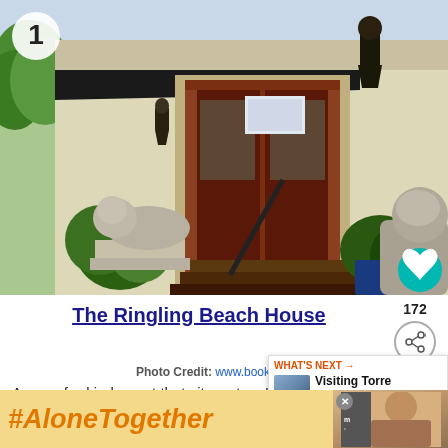[Figure (photo): Exterior entrance of The Ringling Beach House showing a dark red/mahogany door, black awnings, cream-colored walls, two stone lion statues flanking the entrance steps, tropical plants, and an iron wall lantern. Number badge '1' in upper left.]
The Ringling Beach House
Photo Credit: www.booking.com
A one-of-a-kind resort that sits a stone's away from Siesta Key beach, the Rin Beach House brings back the grandeur of the past with beautiful Spanish architecture, and
[Figure (photo): WHAT'S NEXT overlay: Visiting Torre Canne in... with a small photo]
[Figure (photo): Advertisement banner: #AloneTogether in orange italic text on yellow background, with a woman photo on the right side and a close X button]